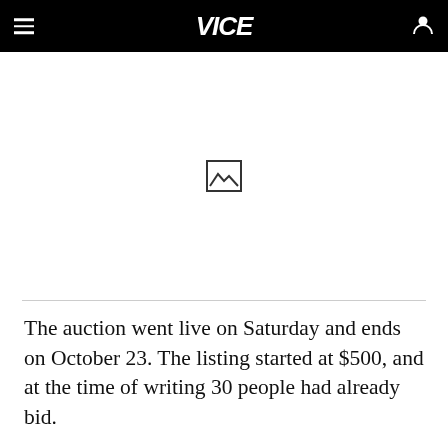VICE
[Figure (photo): Image placeholder icon (broken/missing image) centered in a large white area]
The auction went live on Saturday and ends on October 23. The listing started at $500, and at the time of writing 30 people had already bid.